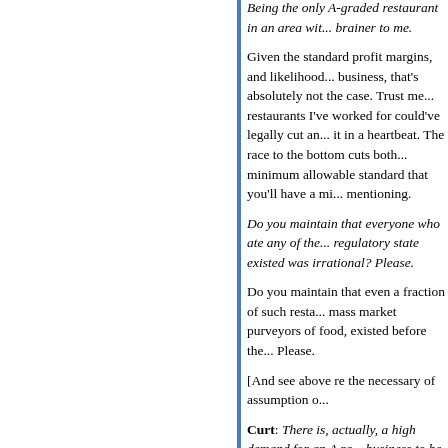Being the only A-graded restaurant in an area with... brainer to me.
Given the standard profit margins, and likelihood... business, that's absolutely not the case. Trust me... restaurants I've worked for could've legally cut an... it in a heartbeat. The race to the bottom cuts both... minimum allowable standard that you'll have a mi... mentioning.
Do you maintain that everyone who ate any of the... regulatory state existed was irrational? Please.
Do you maintain that even a fraction of such resta... mass market purveyors of food, existed before the... Please.
[And see above re the necessary of assumption c...
Curt: There is, actually, a high demand for an A ra... business to be lower. It's pretty unusual for a rest... or otherwise.
Yes, but that's because of the prevailing culture o... restaurants could get away with Cs, they would.